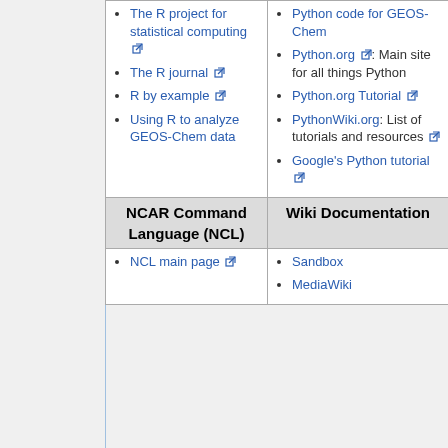| NCAR Command Language (NCL) | Wiki Documentation |
| --- | --- |
| • The R project for statistical computing
• The R journal
• R by example
• Using R to analyze GEOS-Chem data | • Python code for GEOS-Chem
• Python.org: Main site for all things Python
• Python.org Tutorial
• PythonWiki.org: List of tutorials and resources
• Google's Python tutorial |
| NCAR Command Language (NCL) | Wiki Documentation |
| • NCL main page | • Sandbox
• MediaWiki |